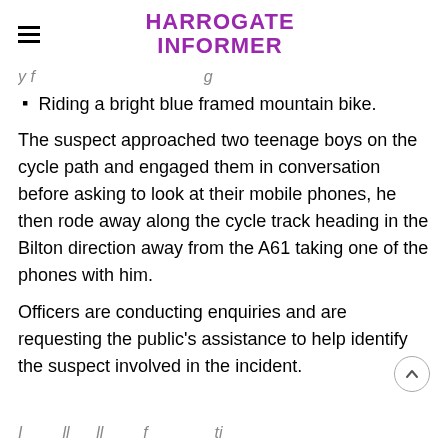HARROGATE INFORMER
Riding a bright blue framed mountain bike.
The suspect approached two teenage boys on the cycle path and engaged them in conversation before asking to look at their mobile phones, he then rode away along the cycle track heading in the Bilton direction away from the A61 taking one of the phones with him.
Officers are conducting enquiries and are requesting the public's assistance to help identify the suspect involved in the incident.